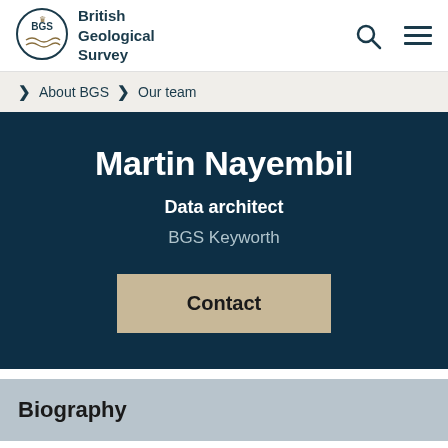[Figure (logo): BGS British Geological Survey logo with circular emblem]
British Geological Survey
> About BGS > Our team
Martin Nayembil
Data architect
BGS Keyworth
Contact
Biography